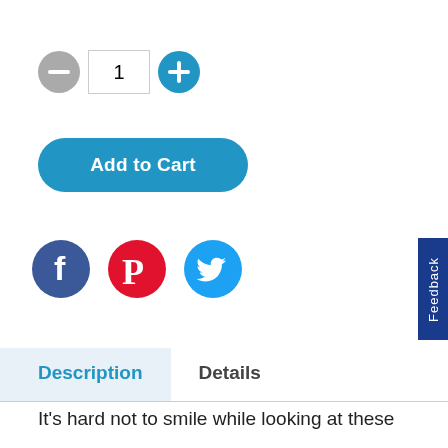[Figure (screenshot): Quantity selector with minus button, input field showing '1', and plus button]
[Figure (screenshot): Blue rounded 'Add to Cart' button]
[Figure (screenshot): Social media icons: Facebook (dark blue circle with f), Pinterest (red circle with P), Twitter (light blue circle with bird)]
[Figure (screenshot): Blue vertical 'Feedback' tab on right edge]
[Figure (screenshot): Tab navigation with 'Description' (active, light blue background) and 'Details' tabs]
It's hard not to smile while looking at these